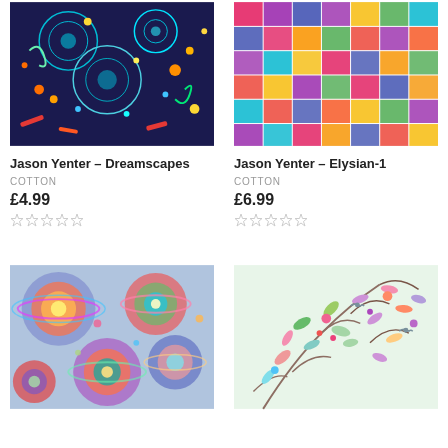[Figure (photo): Colorful abstract circular patterns on dark navy background fabric - Jason Yenter Dreamscapes]
[Figure (photo): Colorful patchwork quilt squares in various patterns and colors - Jason Yenter Elysian-1]
Jason Yenter – Dreamscapes
COTTON
£4.99
Jason Yenter – Elysian-1
COTTON
£6.99
[Figure (photo): Colorful swirling circular planet-like patterns on blue background fabric]
[Figure (photo): Floral fabric with birds and colorful branches on light background]